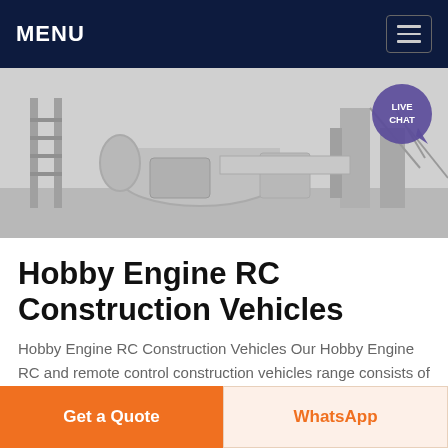MENU
[Figure (photo): Industrial/construction machinery scene showing large equipment, ducting pipes and conveyor structures in an industrial facility. A 'LIVE CHAT' badge is overlaid in the top-right corner.]
Hobby Engine RC Construction Vehicles
Hobby Engine RC Construction Vehicles Our Hobby Engine RC and remote control construction vehicles range consists of the ready to run radio control Crawler Crane Fork Lift Truck and much more We offer a wide range from all leading construction vehicles including the Excavator
Get a Quote
WhatsApp